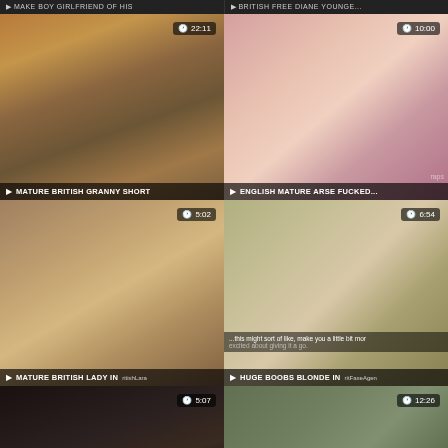[Figure (screenshot): Top bar with two partially visible video thumbnails]
[Figure (screenshot): Video thumbnail: MATURE BRITISH GRANNY SHORT, duration 22:11]
[Figure (screenshot): Video thumbnail: ENGLISH MATURE ARSE FUCKED, duration 10:00]
[Figure (screenshot): Video thumbnail: MATURE BRITISH LADY IN, duration 5:02]
[Figure (screenshot): Video thumbnail: HUGE BOOBS BLONDE IN, duration 6:54, with speech overlay]
[Figure (screenshot): Video thumbnail: partial, duration 5:07]
[Figure (screenshot): Video thumbnail: partial, duration 12:26, with scroll-to-top button]